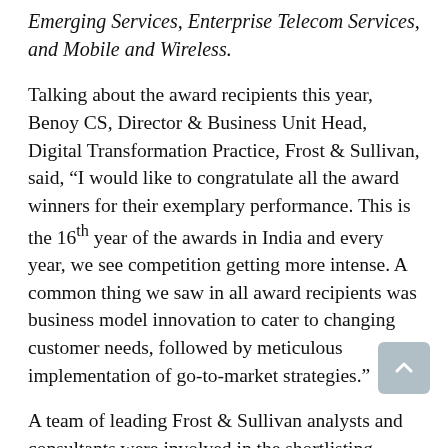Emerging Services, Enterprise Telecom Services, and Mobile and Wireless.
Talking about the award recipients this year, Benoy CS, Director & Business Unit Head, Digital Transformation Practice, Frost & Sullivan, said, “I would like to congratulate all the award winners for their exemplary performance. This is the 16th year of the awards in India and every year, we see competition getting more intense. A common thing we saw in all award recipients was business model innovation to cater to changing customer needs, followed by meticulous implementation of go-to-market strategies.”
A team of leading Frost & Sullivan analysts and consultants were involved in the shortlisting, evaluation, and research process, applying the measurement-based methodology and parameters that have been the hallmark of Frost & Sullivan globally.
The findings of the detailed evaluation were then